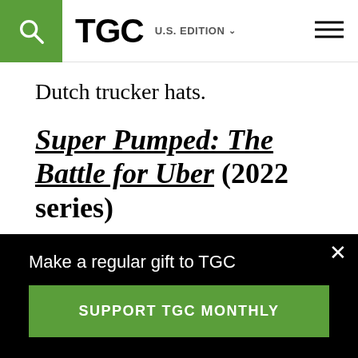TGC  U.S. EDITION
Dutch trucker hats.
Super Pumped: The Battle for Uber (2022 series)
This first season of this Showtime anthology series takes as its subject “the meteoric rise and fall of Uber founder, Travis Kalanick,” and reportedly its second season will be about Facebook. It stars Joseph Gordon-Levitt as
Make a regular gift to TGC
SUPPORT TGC MONTHLY